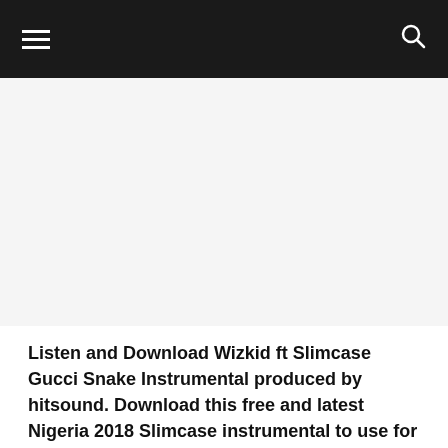☰ 🔍
[Figure (other): Advertisement or blank image placeholder area]
Listen and Download Wizkid ft Slimcase Gucci Snake Instrumental produced by hitsound. Download this free and latest Nigeria 2018 Slimcase instrumental to use for free in your songs, music and album. You can use this beat for lyrically solo songs and use as freestyle rap beat…